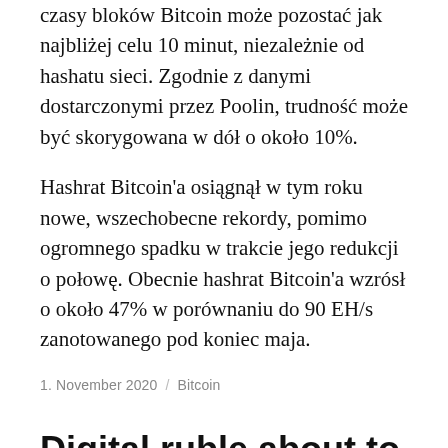czasy bloków Bitcoin może pozostać jak najbliżej celu 10 minut, niezależnie od hashatu sieci. Zgodnie z danymi dostarczonymi przez Poolin, trudność może być skorygowana w dół o około 10%.
Hashrat Bitcoin'a osiągnął w tym roku nowe, wszechobecne rekordy, pomimo ogromnego spadku w trakcie jego redukcji o połowę. Obecnie hashrat Bitcoin'a wzrósł o około 47% w porównaniu do 90 EH/s zanotowanego pod koniec maja.
1. November 2020 / Bitcoin
Digital ruble about to be